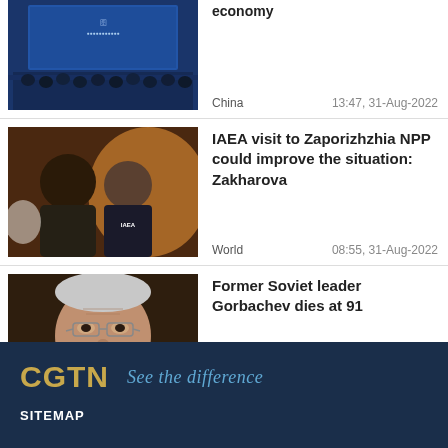[Figure (photo): Conference hall with audience and blue screen backdrop]
economy
China
13:47, 31-Aug-2022
[Figure (photo): Men in conversation, one wearing IAEA badge]
IAEA visit to Zaporizhzhia NPP could improve the situation: Zakharova
World
08:55, 31-Aug-2022
[Figure (photo): Portrait of former Soviet leader Mikhail Gorbachev]
Former Soviet leader Gorbachev dies at 91
World
23:14, 30-Aug-2022
CGTN See the difference
SITEMAP